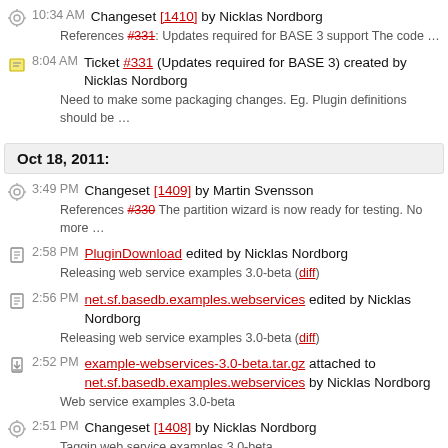10:34 AM Changeset [1410] by Nicklas Nordborg
References #331: Updates required for BASE 3 support The code …
8:04 AM Ticket #331 (Updates required for BASE 3) created by Nicklas Nordborg
Need to make some packaging changes. Eg. Plugin definitions should be …
Oct 18, 2011:
3:49 PM Changeset [1409] by Martin Svensson
References #330 The partition wizard is now ready for testing. No more …
2:58 PM PluginDownload edited by Nicklas Nordborg
Releasing web service examples 3.0-beta (diff)
2:56 PM net.sf.basedb.examples.webservices edited by Nicklas Nordborg
Releasing web service examples 3.0-beta (diff)
2:52 PM example-webservices-3.0-beta.tar.gz attached to net.sf.basedb.examples.webservices by Nicklas Nordborg
Web service examples 3.0-beta
2:51 PM Changeset [1408] by Nicklas Nordborg
Taggin web service examples 3.0-beta
2:50 PM Ticket #327 (Update web service examples to BASE 3) closed by Nicklas Nordborg
fixed: (In [1407]) Fixes #327: Update web service examples to BASE 3